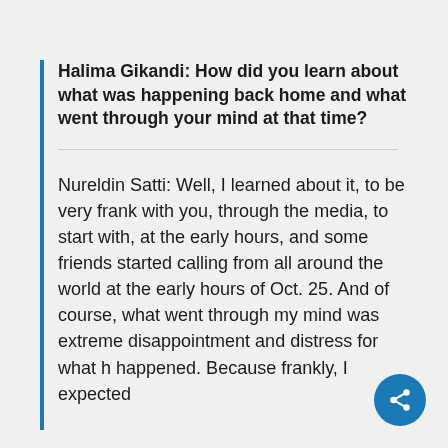Halima Gikandi: How did you learn about what was happening back home and what went through your mind at that time?
Nureldin Satti: Well, I learned about it, to be very frank with you, through the media, to start with, at the early hours, and some friends started calling from all around the world at the early hours of Oct. 25. And of course, what went through my mind was extreme disappointment and distress for what happened. Because frankly, I expected